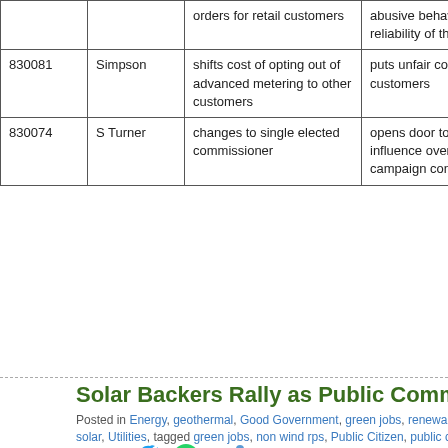|  |  |  |  |
| --- | --- | --- | --- |
|  |  | orders for retail customers | abusive behavior ... reliability of the el... |
| 830081 | Simpson | shifts cost of opting out of advanced metering to other customers | puts unfair cost bu... customers |
| 830074 | S Turner | changes to single elected commissioner | opens door to eve... influence over reg... campaign contribu... |
Read Full Post »
Solar Backers Rally as Public Comment Period E...
Posted in Energy, geothermal, Good Government, green jobs, renewable portfolio sta... solar, Utilities, tagged green jobs, non wind rps, Public Citizen, public citizen texas, Pu... commission, PUC, renewable energy, renewable portfolio standard, Renewables, rps,... texas public utility commission on October 22, 2012 |
[Figure (illustration): Social media sharing icons: Facebook, Twitter, WhatsApp, Share]